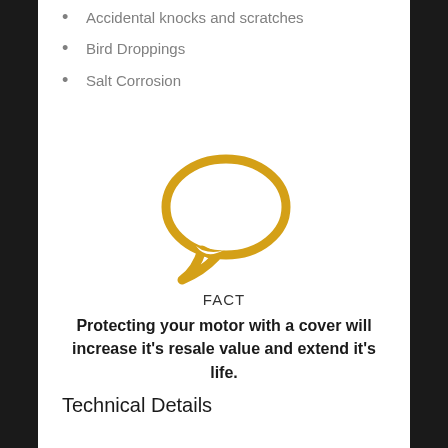Accidental knocks and scratches
Bird Droppings
Salt Corrosion
[Figure (illustration): Golden/yellow speech bubble icon outline on white background]
FACT
Protecting your motor with a cover will increase it's resale value and extend it's life.
Technical Details